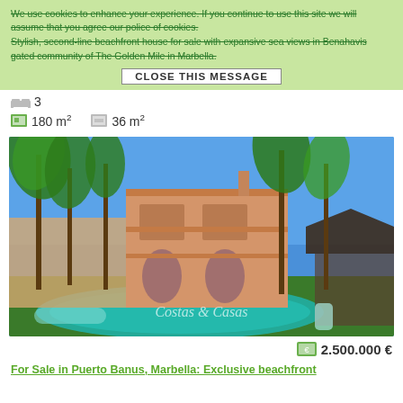We use cookies to enhance your experience. If you continue to use this site we will assume that you agree our police of cookies. Stylish, second-line beachfront house for sale with expansive sea views in Benahavis gated community of The Golden Mile in Marbella.
CLOSE THIS MESSAGE
3  |  180 m²  |  36 m²
[Figure (photo): Luxury beachfront house with swimming pool, palm trees, and a Mediterranean-style building in Puerto Banus, Marbella. Watermark reads 'Costas & Casas'.]
2.500.000 €
For Sale in Puerto Banus, Marbella: Exclusive beachfront